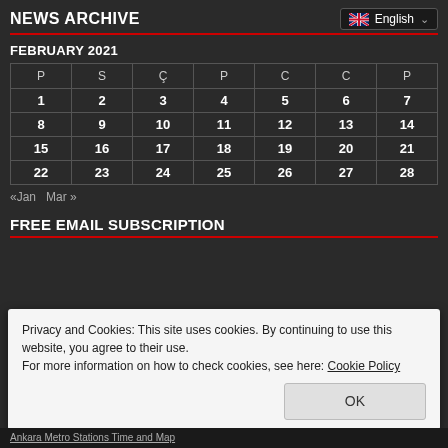NEWS ARCHIVE
English
FEBRUARY 2021
| P | S | Ç | P | C | C | P |
| --- | --- | --- | --- | --- | --- | --- |
| 1 | 2 | 3 | 4 | 5 | 6 | 7 |
| 8 | 9 | 10 | 11 | 12 | 13 | 14 |
| 15 | 16 | 17 | 18 | 19 | 20 | 21 |
| 22 | 23 | 24 | 25 | 26 | 27 | 28 |
«Jan  Mar »
FREE EMAIL SUBSCRIPTION
Privacy and Cookies: This site uses cookies. By continuing to use this website, you agree to their use.
For more information on how to check cookies, see here: Cookie Policy
Ankara Metro Stations Time and Map